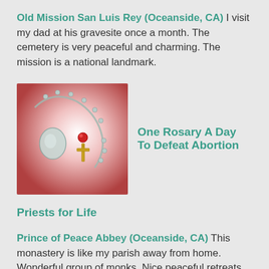Old Mission San Luis Rey (Oceanside, CA) I visit my dad at his gravesite once a month. The cemetery is very peaceful and charming. The mission is a national landmark.
[Figure (photo): Photo of a rosary with a red-and-white glowing background, next to text reading 'One Rosary A Day To Defeat Abortion']
One Rosary A Day To Defeat Abortion
Priests for Life
Prince of Peace Abbey (Oceanside, CA) This monastery is like my parish away from home. Wonderful group of monks. Nice peaceful retreats.
Queenship Publishing Traditional Catholic books,